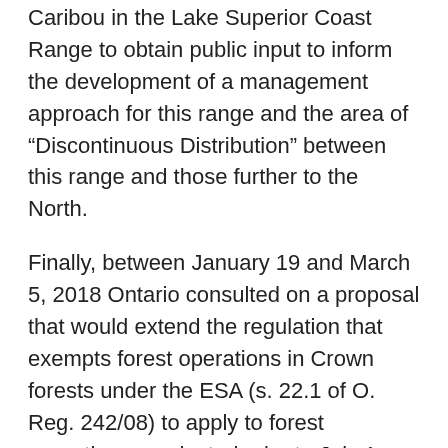Caribou in the Lake Superior Coast Range to obtain public input to inform the development of a management approach for this range and the area of “Discontinuous Distribution” between this range and those further to the North.
Finally, between January 19 and March 5, 2018 Ontario consulted on a proposal that would extend the regulation that exempts forest operations in Crown forests under the ESA (s. 22.1 of O. Reg. 242/08) to apply to forest operations conducted prior to July 1, 2020 rather than July 1, 2018. Ontario has